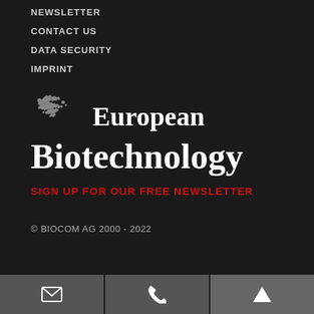NEWSLETTER
CONTACT US
DATA SECURITY
IMPRINT
[Figure (logo): European Biotechnology logo with grey map of Europe silhouette on left and serif text 'European Biotechnology' on right]
SIGN UP FOR OUR FREE NEWSLETTER
© BIOCOM AG 2000 - 2022
Email icon | Phone icon | Up arrow icon